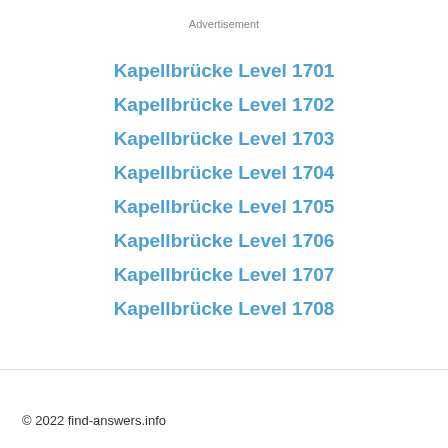Advertisement
Kapellbrücke Level 1701
Kapellbrücke Level 1702
Kapellbrücke Level 1703
Kapellbrücke Level 1704
Kapellbrücke Level 1705
Kapellbrücke Level 1706
Kapellbrücke Level 1707
Kapellbrücke Level 1708
© 2022 find-answers.info